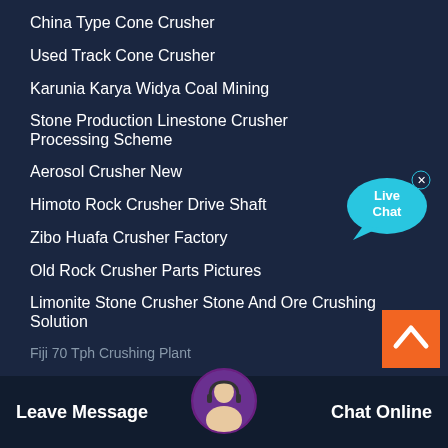China Type Cone Crusher
Used Track Cone Crusher
Karunia Karya Widya Coal Mining
Stone Production Linestone Crusher Processing Scheme
Aerosol Crusher New
Himoto Rock Crusher Drive Shaft
Zibo Huafa Crusher Factory
Old Rock Crusher Parts Pictures
Limonite Stone Crusher Stone And Ore Crushing Solution
Fiji 70 Tph Crushing Plant
[Figure (illustration): Live Chat speech bubble icon in cyan/blue with 'Live Chat' text and a close X button]
[Figure (illustration): Orange scroll-to-top button with white upward chevron arrow]
Leave Message   Chat Online